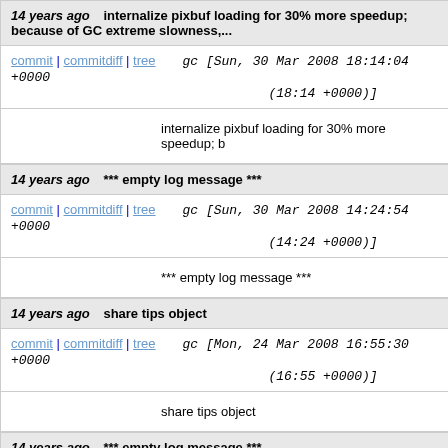14 years ago   internalize pixbuf loading for 30% more speedup; because of GC extreme slowness,...
commit | commitdiff | tree   gc [Sun, 30 Mar 2008 18:14:04 +0000 (18:14 +0000)]
internalize pixbuf loading for 30% more speedup; b...
14 years ago   *** empty log message ***
commit | commitdiff | tree   gc [Sun, 30 Mar 2008 14:24:54 +0000 (14:24 +0000)]
*** empty log message ***
14 years ago   share tips object
commit | commitdiff | tree   gc [Mon, 24 Mar 2008 16:55:30 +0000 (16:55 +0000)]
share tips object
14 years ago   *** empty log message ***
commit | commitdiff | tree   gc [Mon, 24 Mar 2008 16:05:18 +0000 (16:05 +0000)]